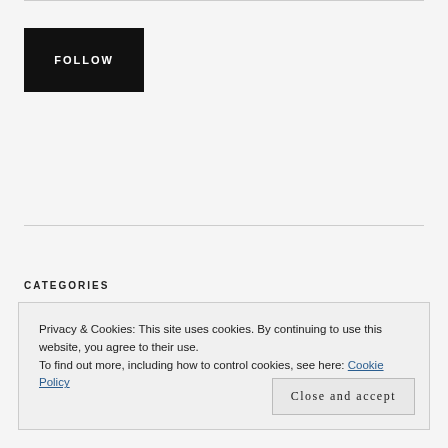[Figure (other): Black FOLLOW button]
CATEGORIES
Privacy & Cookies: This site uses cookies. By continuing to use this website, you agree to their use.
To find out more, including how to control cookies, see here: Cookie Policy
Close and accept